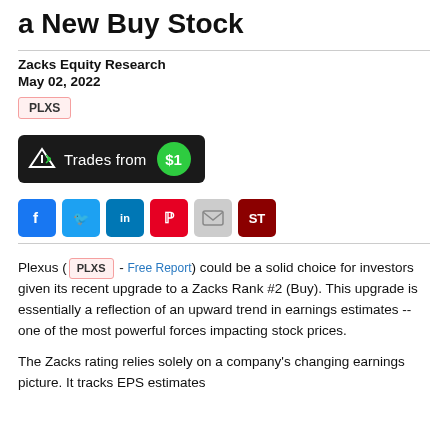a New Buy Stock
Zacks Equity Research
May 02, 2022
PLXS
[Figure (infographic): Dark button with share icon and text 'Trades from $1' with green circle showing $1]
[Figure (infographic): Social sharing icons: Facebook, Twitter, LinkedIn, Pinterest, Email, ST]
Plexus ( PLXS - Free Report ) could be a solid choice for investors given its recent upgrade to a Zacks Rank #2 (Buy). This upgrade is essentially a reflection of an upward trend in earnings estimates -- one of the most powerful forces impacting stock prices.
The Zacks rating relies solely on a company's changing earnings picture. It tracks EPS estimates